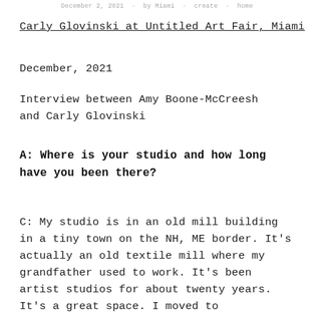December 2, 2021 · by Miami · create · home
Carly Glovinski at Untitled Art Fair, Miami
December, 2021
Interview between Amy Boone-McCreesh and Carly Glovinski
A: Where is your studio and how long have you been there?
C: My studio is in an old mill building in a tiny town on the NH, ME border. It's actually an old textile mill where my grandfather used to work. It's been artist studios for about twenty years. It's a great space. I moved to